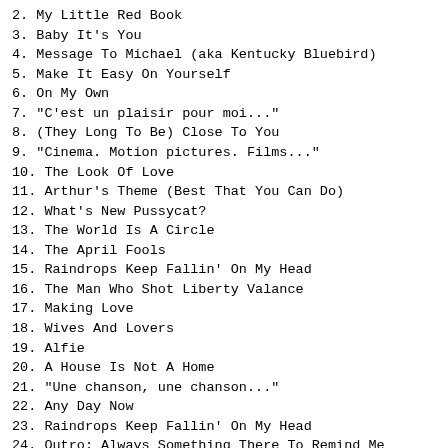2. My Little Red Book
3. Baby It's You
4. Message To Michael (aka Kentucky Bluebird)
5. Make It Easy On Yourself
6. On My Own
7. "C'est un plaisir pour moi..."
8. (They Long To Be) Close To You
9. "Cinema. Motion pictures. Films..."
10. The Look Of Love
11. Arthur's Theme (Best That You Can Do)
12. What's New Pussycat?
13. The World Is A Circle
14. The April Fools
15. Raindrops Keep Fallin' On My Head
16. The Man Who Shot Liberty Valance
17. Making Love
18. Wives And Lovers
19. Alfie
20. A House Is Not A Home
21. "Une chanson, une chanson..."
22. Any Day Now
23. Raindrops Keep Fallin' On My Head
24. Outro: Always Something There To Remind Me
Notes
Lineage:
Audience->Church Audio CA-11->CA 9200 Preamp->Line In->
Roland Edirol R 09HR->WAV 48000Hz 24bits->Adobe